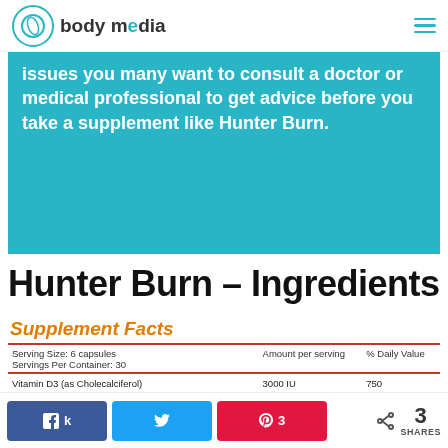body media
issues you many want to consult a doctor or medical professional to get advice before you take a supplement like Hunter Burn.
Hunter Burn – Ingredients
Supplement Facts
| Serving Size: 6 capsules
Servings Per Container: 30 | Amount per serving | % Daily Value |
| --- | --- | --- |
| Vitamin D3 (as Cholecalciferol) | 3000 IU | 750 |
| Konjac Root Extract (Amorphophallus konjac) (Standardized to 90% Glucomannan) | 3000 mg | ** |
| White Kidney Bean 20:1 Extract (Phaseolus vulgaris) | 500 mg | ** |
3 SHARES